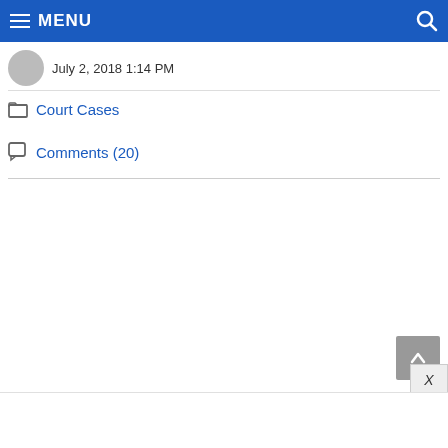MENU
July 2, 2018 1:14 PM
Court Cases
Comments (20)